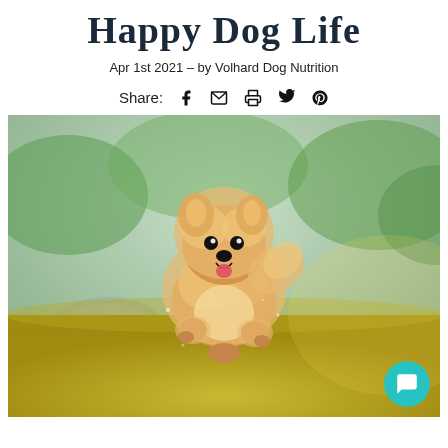Happy Dog Life
Apr 1st 2021 – by Volhard Dog Nutrition
Share:
[Figure (photo): A fluffy golden Pomeranian dog running happily across a green grassy field, front paws lifted, mouth open in a smile, blurred green and grey background with sunlight.]